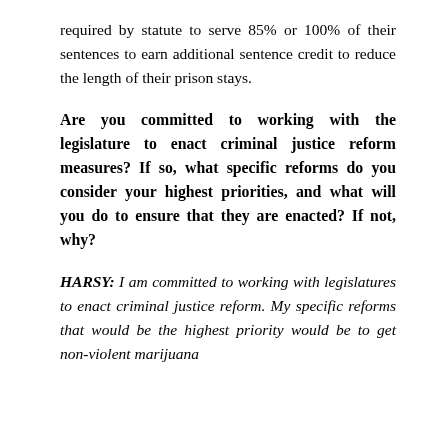required by statute to serve 85% or 100% of their sentences to earn additional sentence credit to reduce the length of their prison stays.
Are you committed to working with the legislature to enact criminal justice reform measures? If so, what specific reforms do you consider your highest priorities, and what will you do to ensure that they are enacted? If not, why?
HARSY: I am committed to working with legislatures to enact criminal justice reform. My specific reforms that would be the highest priority would be to get non-violent marijuana